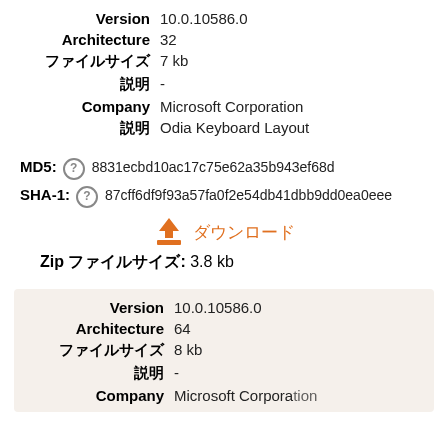Version  10.0.10586.0
Architecture  32
ファイルサイズ  7 kb
説明  -
Company  Microsoft Corporation
説明  Odia Keyboard Layout
MD5:  8831ecbd10ac17c75e62a35b943ef68d
SHA-1:  87cff6df9f93a57fa0f2e54db41dbb9dd0ea0eee
ダウンロード
Zip ファイルサイズ:  3.8 kb
Version  10.0.10586.0
Architecture  64
ファイルサイズ  8 kb
説明  -
Company  Microsoft Corporation